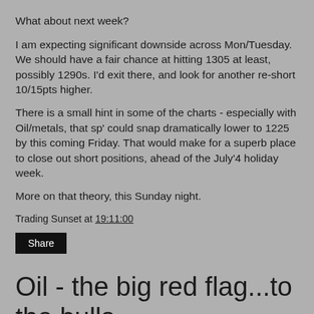What about next week?
I am expecting significant downside across Mon/Tuesday. We should have a fair chance at hitting 1305 at least, possibly 1290s. I'd exit there, and look for another re-short 10/15pts higher.
There is a small hint in some of the charts - especially with Oil/metals, that sp' could snap dramatically lower to 1225 by this coming Friday. That would make for a superb place to close out short positions, ahead of the July'4 holiday week.
More on that theory, this Sunday night.
Trading Sunset at 19:11:00
Share
Oil - the big red flag...to the bulls